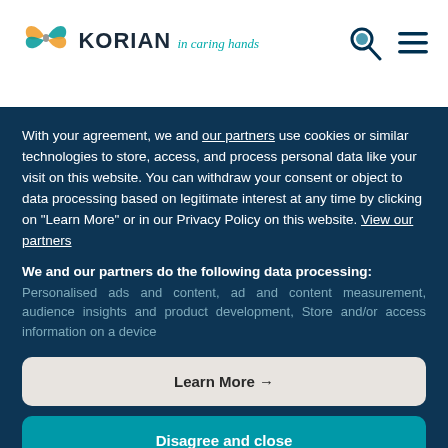[Figure (logo): Korian logo with butterfly/infinity symbol in teal and orange, text 'KORIAN in caring hands']
[Figure (screenshot): Search icon (magnifying glass) and hamburger menu icon in top right header]
With your agreement, we and our partners use cookies or similar technologies to store, access, and process personal data like your visit on this website. You can withdraw your consent or object to data processing based on legitimate interest at any time by clicking on "Learn More" or in our Privacy Policy on this website. View our partners
We and our partners do the following data processing: Personalised ads and content, ad and content measurement, audience insights and product development, Store and/or access information on a device
Learn More →
Disagree and close
Agree and close